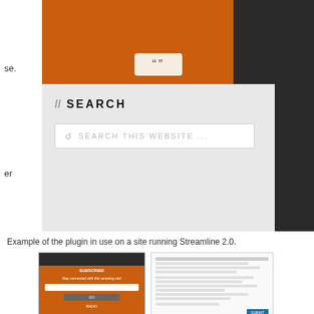[Figure (screenshot): Screenshot of a website using Streamline 2.0 plugin, showing an orange header with a quote icon button, and a gray section below with a SEARCH heading and search bar. A dark panel is on the right side.]
Example of the plugin in use on a site running Streamline 2.0.
[Figure (screenshot): Two screenshots: left shows an orange sign-up/login form on a dark background; right shows a settings/form page with text fields and a blue submit button.]
ČPP
What services work with this plugin?
How do I get the privacy policy link to